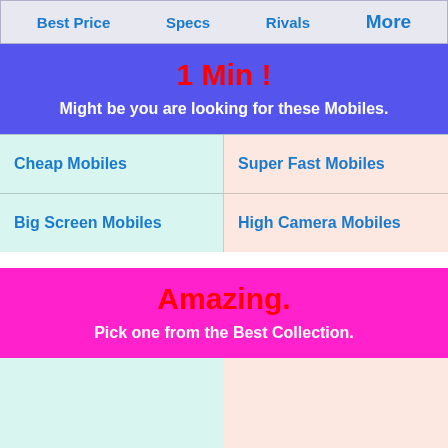Best Price   Specs   Rivals   More
1 Min !
Might be you are looking for these Mobiles.
Cheap Mobiles
Super Fast Mobiles
Big Screen Mobiles
High Camera Mobiles
Amazing.
Pick one from the Best Collection.
nes